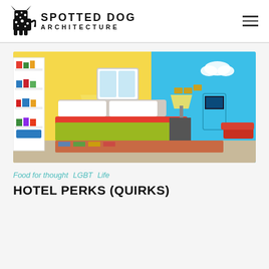SPOTTED DOG ARCHITECTURE
[Figure (photo): Hotel room interior with yellow walls, red bed frame with yellow-green blanket, bookshelf with colorful items on left, blue accent wall on right with arcade game machine and Super Mario Bros elements]
Food for thought  LGBT  Life
HOTEL PERKS (QUIRKS)